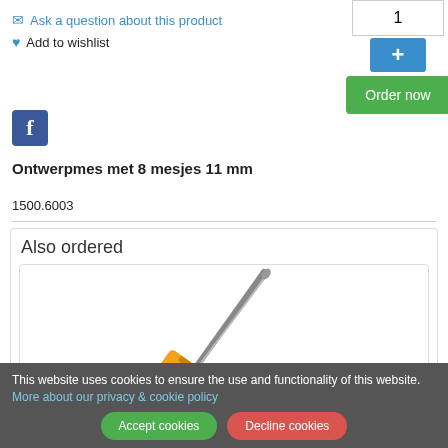1
+
Order now
✉ Ask a question about this product
♥ Add to wishlist
[Figure (logo): Facebook logo icon — white f on blue square background]
Ontwerpmes met 8 mesjes 11 mm
1500.6003
Also ordered
[Figure (photo): A craft knife / design knife with orange handle and metallic blade tip, shown diagonally]
This website uses cookies to ensure the use and functionality of this website.
More about our privacy & cookie policy
Accept cookies
Decline cookies